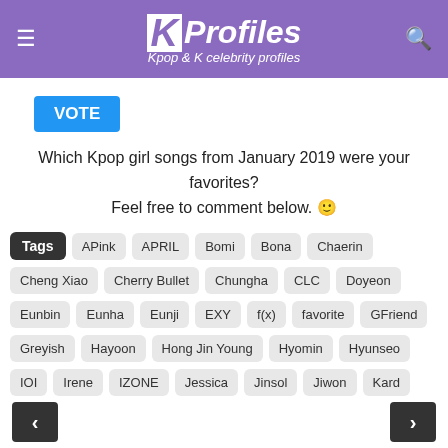KProfiles - Kpop & K celebrity profiles
Which Kpop girl songs from January 2019 were your favorites? Feel free to comment below. 🙂
Tags: APink, APRIL, Bomi, Bona, Chaerin, Cheng Xiao, Cherry Bullet, Chungha, CLC, Doyeon, Eunbin, Eunha, Eunji, EXY, f(x), favorite, GFriend, Greyish, Hayoon, Hong Jin Young, Hyomin, Hyunseo, IOI, Irene, IZONE, Jessica, Jinsol, Jiwon, Kard, kpop, Luda, Luna, May, Naeun, Namjoo, Rachel, Rothy, Sejeong, Shinyoung, sinB, SNSD, Somi